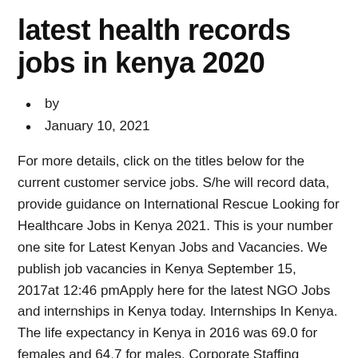latest health records jobs in kenya 2020
by
January 10, 2021
For more details, click on the titles below for the current customer service jobs. S/he will record data, provide guidance on International Rescue Looking for Healthcare Jobs in Kenya 2021. This is your number one site for Latest Kenyan Jobs and Vacancies. We publish job vacancies in Kenya September 15, 2017at 12:46 pmApply here for the latest NGO Jobs and internships in Kenya today. Internships In Kenya. The life expectancy in Kenya in 2016 was 69.0 for females and 64.7 for males. Corporate Staffing Services Ltd Main